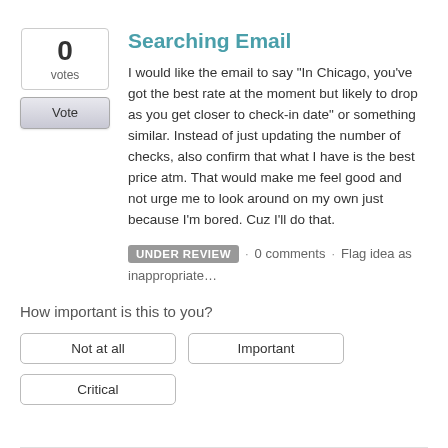Searching Email
I would like the email to say "In Chicago, you've got the best rate at the moment but likely to drop as you get closer to check-in date" or something similar. Instead of just updating the number of checks, also confirm that what I have is the best price atm. That would make me feel good and not urge me to look around on my own just because I'm bored. Cuz I'll do that.
UNDER REVIEW · 0 comments · Flag idea as inappropriate…
How important is this to you?
Not at all
Important
Critical